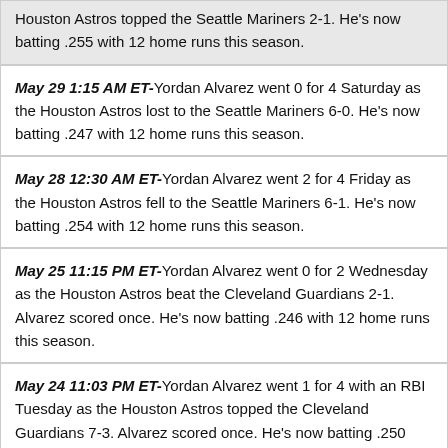Houston Astros topped the Seattle Mariners 2-1. He's now batting .255 with 12 home runs this season.
May 29 1:15 AM ET-Yordan Alvarez went 0 for 4 Saturday as the Houston Astros lost to the Seattle Mariners 6-0. He's now batting .247 with 12 home runs this season.
May 28 12:30 AM ET-Yordan Alvarez went 2 for 4 Friday as the Houston Astros fell to the Seattle Mariners 6-1. He's now batting .254 with 12 home runs this season.
May 25 11:15 PM ET-Yordan Alvarez went 0 for 2 Wednesday as the Houston Astros beat the Cleveland Guardians 2-1. Alvarez scored once. He's now batting .246 with 12 home runs this season.
May 24 11:03 PM ET-Yordan Alvarez went 1 for 4 with an RBI Tuesday as the Houston Astros topped the Cleveland Guardians 7-3. Alvarez scored once. He's now batting .250 with 12 home runs this season.
May 23 11:20 PM ET-Yordan Alvarez went 0 for 3 Monday as the Houston Astros lost to the Cleveland Guardians 6-1. He's now batting .250 with 12 home runs this season.
May 22 5:51 PM ET-Yordan Alvarez went 1 for 4 with a double and an RBI